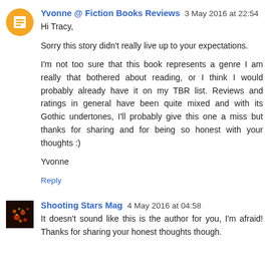Yvonne @ Fiction Books Reviews 3 May 2016 at 22:54
Hi Tracy,

Sorry this story didn't really live up to your expectations.

I'm not too sure that this book represents a genre I am really that bothered about reading, or I think I would probably already have it on my TBR list. Reviews and ratings in general have been quite mixed and with its Gothic undertones, I'll probably give this one a miss but thanks for sharing and for being so honest with your thoughts :)

Yvonne
Reply
Shooting Stars Mag 4 May 2016 at 04:58
It doesn't sound like this is the author for you, I'm afraid! Thanks for sharing your honest thoughts though.